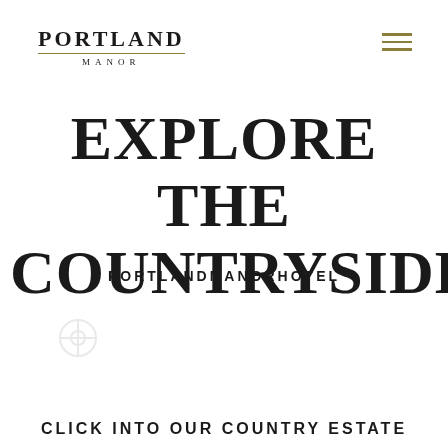PORTLAND MANOR
EXPLORE THE COUNTRYSIDE
PORTLANDMANORHOTEL
CLICK INTO OUR COUNTRY ESTATE